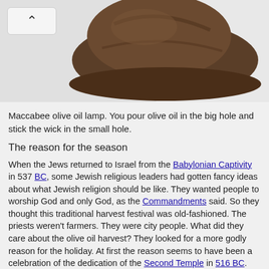[Figure (photo): Photo of a brown Maccabee olive oil lamp (clay lamp shaped like a hat/beret) on a white background, with a grey background area. A back/up navigation button (caret up) is visible in the top left.]
Maccabee olive oil lamp. You pour olive oil in the big hole and stick the wick in the small hole.
The reason for the season
When the Jews returned to Israel from the Babylonian Captivity in 537 BC, some Jewish religious leaders had gotten fancy ideas about what Jewish religion should be like. They wanted people to worship God and only God, as the Commandments said. So they thought this traditional harvest festival was old-fashioned. The priests weren't farmers. They were city people. What did they care about the olive oil harvest? They looked for a more godly reason for the holiday. At first the reason seems to have been a celebration of the dedication of the Second Temple in 516 BC.
What's the Babylonian Captivity?
Persians and the Second Temple